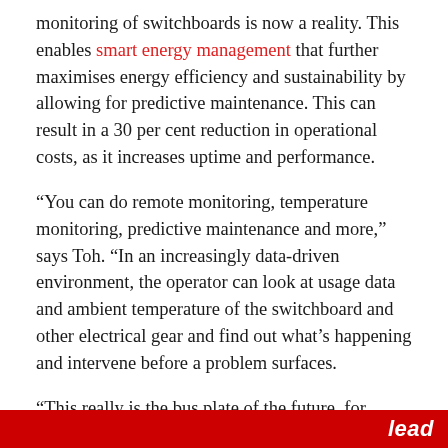monitoring of switchboards is now a reality. This enables smart energy management that further maximises energy efficiency and sustainability by allowing for predictive maintenance. This can result in a 30 per cent reduction in operational costs, as it increases uptime and performance.
“You can do remote monitoring, temperature monitoring, predictive maintenance and more,” says Toh. “In an increasingly data-driven environment, the operator can look at usage data and ambient temperature of the switchboard and other electrical gear and find out what’s happening and intervene before a problem surfaces.
“This really is the bus plate of the future, for businesses that want real performance.”
lead